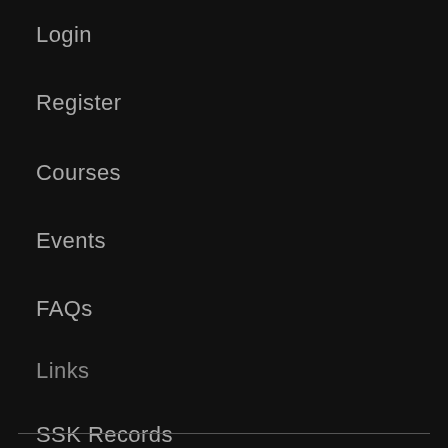Login
Register
Courses
Events
FAQs
Links
SSK Records
MusicWealth
Steven Machat
SSK Books